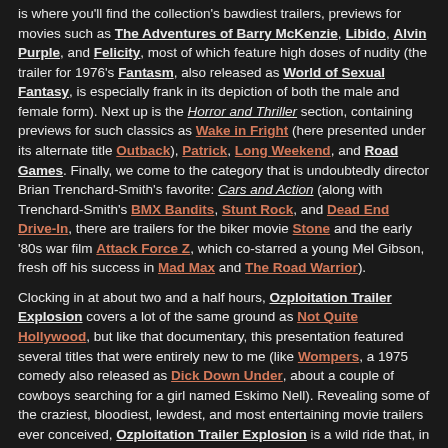is where you'll find the collection's bawdiest trailers, previews for movies such as The Adventures of Barry McKenzie, Libido, Alvin Purple, and Felicity, most of which feature high doses of nudity (the trailer for 1976's Fantasm, also released as World of Sexual Fantasy, is especially frank in its depiction of both the male and female form). Next up is the Horror and Thriller section, containing previews for such classics as Wake in Fright (here presented under its alternate title Outback), Patrick, Long Weekend, and Road Games. Finally, we come to the category that is undoubtedly director Brian Trenchard-Smith's favorite: Cars and Action (along with Trenchard-Smith's BMX Bandits, Stunt Rock, and Dead End Drive-In, there are trailers for the biker movie Stone and the early '80s war film Attack Force Z, which co-starred a young Mel Gibson, fresh off his success in Mad Max and The Road Warrior).
Clocking in at about two and a half hours, Ozploitation Trailer Explosion covers a lot of the same ground as Not Quite Hollywood, but like that documentary, this presentation featured several titles that were entirely new to me (like Wompers, a 1975 comedy also released as Dick Down Under, about a couple of cowboys searching for a girl named Eskimo Nell). Revealing some of the craziest, bloodiest, lewdest, and most entertaining movie trailers ever conceived, Ozploitation Trailer Explosion is a wild ride that, in my opinion, is well worth taking.